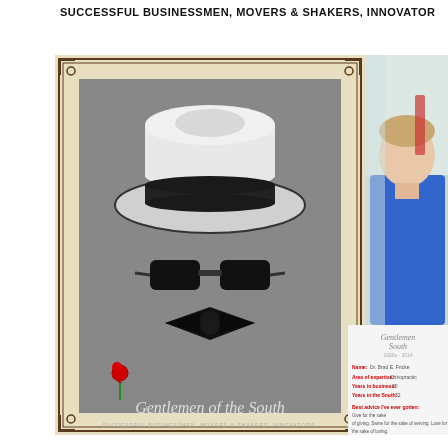SUCCESSFUL BUSINESSMEN, MOVERS & SHAKERS, INNOVATORS
[Figure (photo): Magazine cover showing a white fedora hat, black sunglasses, and black bow tie arranged on a gray background to suggest a face, with the text 'Gentlemen of the South' and subtitle 'SUCCESSFUL BUSINESSMEN, MOVERS & SHAKERS, INNOVATORS' styled like a vintage poster, framed with a decorative ornate border on an aged paper-like background.]
[Figure (photo): Partial photo of a man in a blue shirt, visible from shoulders up, blurred background with white/green tones.]
[Figure (photo): Gentlemen of the South profile card with red text and logo, partially visible, showing name Dr. Brad E. Fricke, areas of expertise Chiropractic, years in business 30, years in the South 32.]